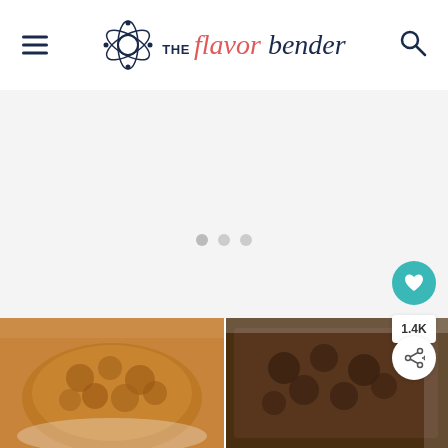THE flavor bender - website header with hamburger menu and search icon
[Figure (photo): Light gray placeholder/loading area for a slideshow carousel with three dots navigation indicator in the center]
[Figure (photo): Left food photo: close-up of a caramel pecan pie or tart with glossy golden-brown filling in a white dish]
[Figure (photo): Right food photo: close-up of a dark chocolate pecan pie or brownie in a white baking dish]